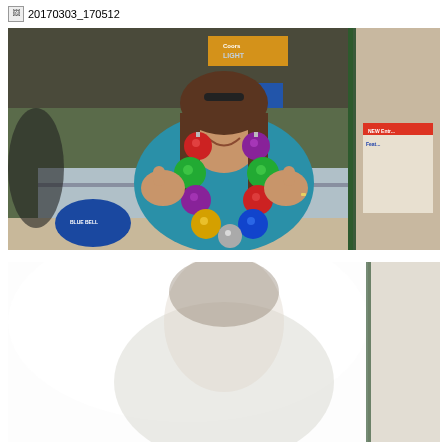20170303_170512
[Figure (photo): Woman wearing a colorful Christmas ornament necklace/garland with red, green, purple, gold, blue and silver balls, giving two thumbs up and smiling. She is wearing a teal blue hoodie and standing in front of what appears to be an ice cream shop or diner with a Blue Bell ice cream logo visible. Signs in background include 'Welcome Bikers' and a Coors Light sign.]
[Figure (photo): Partial photo, mostly overexposed/white with a figure visible in bright light.]